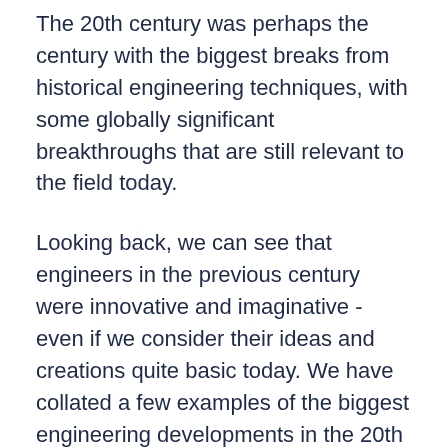The 20th century was perhaps the century with the biggest breaks from historical engineering techniques, with some globally significant breakthroughs that are still relevant to the field today.
Looking back, we can see that engineers in the previous century were innovative and imaginative - even if we consider their ideas and creations quite basic today. We have collated a few examples of the biggest engineering developments in the 20th century and examined the impact they had on jobs.
1900s...